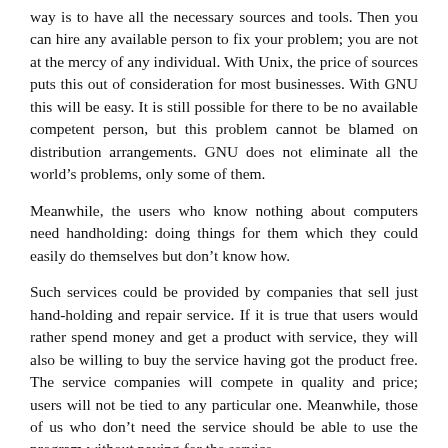way is to have all the necessary sources and tools. Then you can hire any available person to fix your problem; you are not at the mercy of any individual. With Unix, the price of sources puts this out of consideration for most businesses. With GNU this will be easy. It is still possible for there to be no available competent person, but this problem cannot be blamed on distribution arrangements. GNU does not eliminate all the world's problems, only some of them.
Meanwhile, the users who know nothing about computers need handholding: doing things for them which they could easily do themselves but don't know how.
Such services could be provided by companies that sell just hand-holding and repair service. If it is true that users would rather spend money and get a product with service, they will also be willing to buy the service having got the product free. The service companies will compete in quality and price; users will not be tied to any particular one. Meanwhile, those of us who don't need the service should be able to use the program without paying for the service.
“You cannot reach many people without advertising, and you